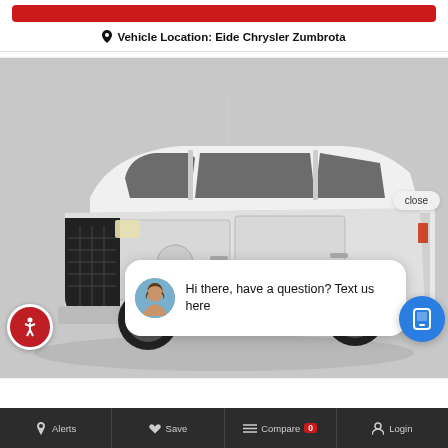Vehicle Location: Eide Chrysler Zumbrota
[Figure (photo): White Dodge Ram pickup truck displayed on a dealer website with a chat popup overlay showing 'Hi there, have a question? Text us here' and accessibility/close buttons.]
close
Hi there, have a question? Text us here
Alerts   Save   Compare 0   Login